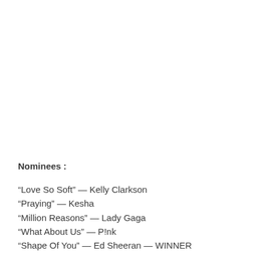Nominees :
“Love So Soft” — Kelly Clarkson
“Praying” — Kesha
“Million Reasons” — Lady Gaga
“What About Us” — P!nk
“Shape Of You” — Ed Sheeran — WINNER